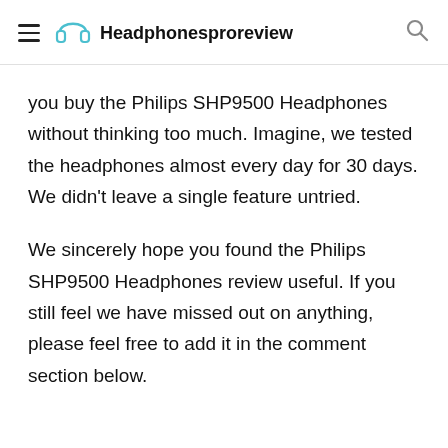Headphonesproreview
you buy the Philips SHP9500 Headphones without thinking too much. Imagine, we tested the headphones almost every day for 30 days. We didn't leave a single feature untried.
We sincerely hope you found the Philips SHP9500 Headphones review useful. If you still feel we have missed out on anything, please feel free to add it in the comment section below.